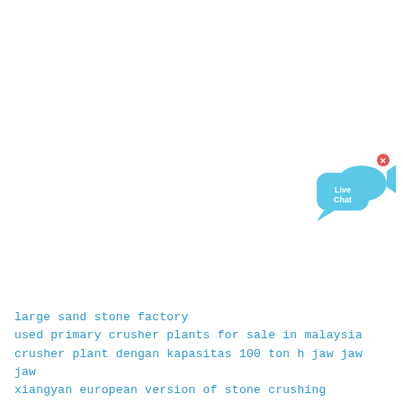[Figure (illustration): Live Chat widget button: a blue speech bubble with 'Live Chat' text in white, overlaid with a blue fish shape, and a small 'x' close button in the top-right corner.]
large sand stone factory
used primary crusher plants for sale in malaysia
crusher plant dengan kapasitas 100 ton h jaw jaw jaw
xiangyan european version of stone crushing